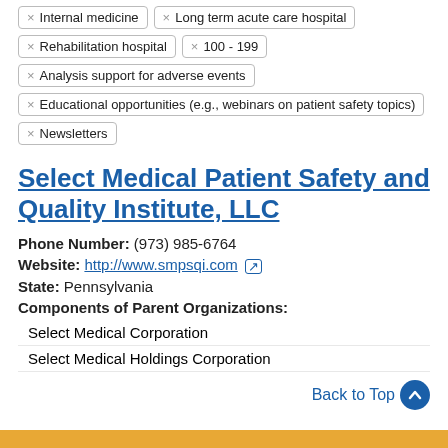× Internal medicine
× Long term acute care hospital
× Rehabilitation hospital
× 100 - 199
× Analysis support for adverse events
× Educational opportunities (e.g., webinars on patient safety topics)
× Newsletters
Select Medical Patient Safety and Quality Institute, LLC
Phone Number: (973) 985-6764
Website: http://www.smpsqi.com
State: Pennsylvania
Components of Parent Organizations:
Select Medical Corporation
Select Medical Holdings Corporation